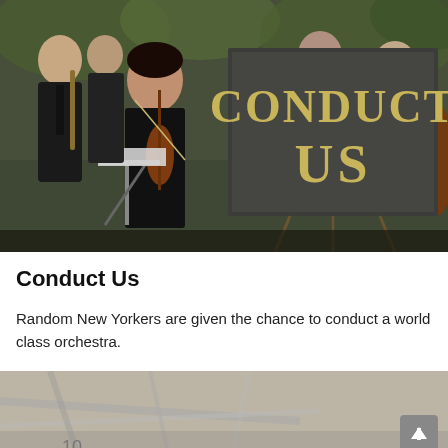[Figure (photo): Orchestra musicians in formal black attire playing instruments outdoors. In the center-right is a large dark sign with gold serif text reading 'CONDUCT US'. A woman playing violin is prominent on the left side.]
Conduct Us
Random New Yorkers are given the chance to conduct a world class orchestra.
[Figure (photo): Partial view of what appears to be a black and white or sepia-toned photograph showing people or objects, partially cut off at the bottom of the page. A back-to-top button (arrow pointing up) is visible in the bottom-right corner.]